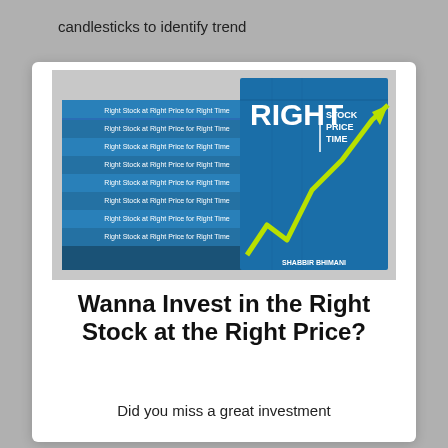candlesticks to identify trend
[Figure (photo): Stack of books titled 'Right Stock Price Time' by Shabbir Bhimani, with a blue cover featuring a green upward arrow chart]
Wanna Invest in the Right Stock at the Right Price?
Did you miss a great investment